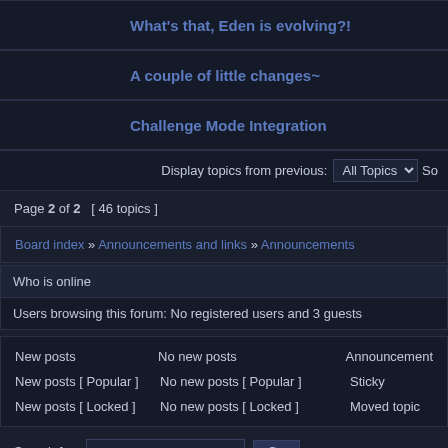What's that, Eden is evolving?!
A couple of little changes~
Challenge Mode Integration
Display topics from previous: All Topics
Page 2 of 2  [ 46 topics ]
Board index » Announcements and links » Announcements
Who is online
Users browsing this forum: No registered users and 3 guests
New posts   No new posts   Announcement
New posts [ Popular ]   No new posts [ Popular ]   Sticky
New posts [ Locked ]   No new posts [ Locked ]   Moved topic
Search for:  Go
Powered by phpBB © 2000, 2002